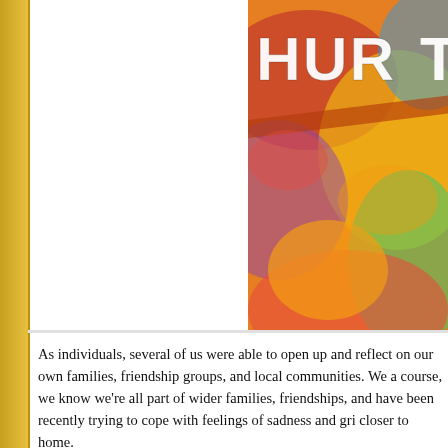[Figure (photo): Colorful abstract painting with the word 'HURT' in large white letters on a vibrant multi-colored background with brushstroke textures]
As individuals, several of us were able to open up and reflect on our own families, friendship groups, and local communities. We a course, we know we're all part of wider families, friendships, and have been recently trying to cope with feelings of sadness and gri closer to home.
The word 'rollercoaster' was used several times to describe the p Some of us are looking to a future that we know won't include us our 'brave face' to the world. The highs and lows of our emotions angry and frustrated at seemingly small things but our discussion not really the small things that are triggering us, it's the layers tha that see our emotional response bursting to be freed and acknow